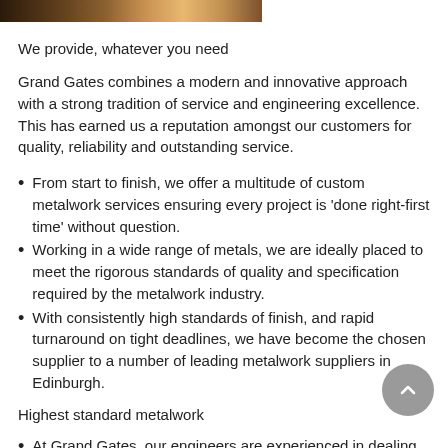[Figure (photo): Partial photo strip at top of page showing a decorative metalwork gate or similar subject, cropped to a narrow horizontal band]
We provide, whatever you need
Grand Gates combines a modern and innovative approach with a strong tradition of service and engineering excellence. This has earned us a reputation amongst our customers for quality, reliability and outstanding service.
From start to finish, we offer a multitude of custom metalwork services ensuring every project is 'done right-first time' without question.
Working in a wide range of metals, we are ideally placed to meet the rigorous standards of quality and specification required by the metalwork industry.
With consistently high standards of finish, and rapid turnaround on tight deadlines, we have become the chosen supplier to a number of leading metalwork suppliers in Edinburgh.
Highest standard metalwork
At Grand Gates, our engineers are experienced in dealing with